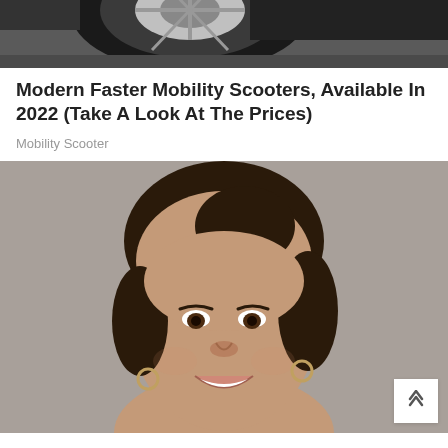[Figure (photo): Top portion of a scooter wheel/tire on a dark surface, cropped at the top of the page.]
Modern Faster Mobility Scooters, Available In 2022 (Take A Look At The Prices)
Mobility Scooter
[Figure (photo): Portrait photo of a smiling mixed-race woman with curly dark hair pulled back, wearing small hoop earrings, against a gray background.]